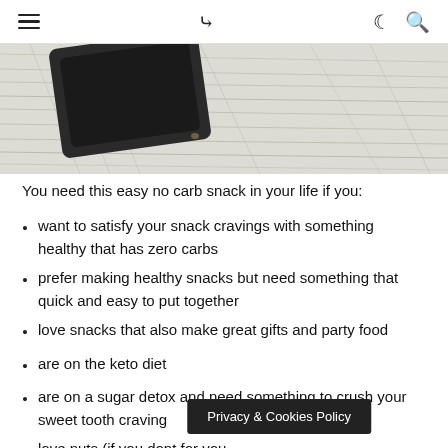≡  ❱  ☽  🔍
[Figure (photo): Close-up photo of what appears to be a dark square pan or container on a white scratched wooden surface background.]
You need this easy no carb snack in your life if you:
want to satisfy your snack cravings with something healthy that has zero carbs
prefer making healthy snacks but need something that quick and easy to put together
love snacks that also make great gifts and party food
are on the keto diet
are on a sugar detox and need something to crush your sweet tooth craving
love nuts (if you don't for you
Privacy & Cookies Policy